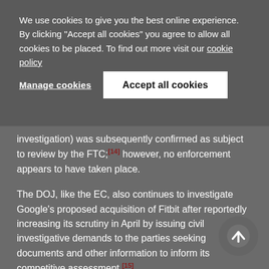We use cookies to give you the best online experience. By clicking "Accept all cookies" you agree to allow all cookies to be placed. To find out more visit our cookie policy
Manage cookies
Accept all cookies
investigation) was subsequently confirmed as subject to review by the FTC;[14] however, no enforcement appears to have taken place.
The DOJ, like the EC, also continues to investigate Google's proposed acquisition of Fitbit after reportedly increasing its scrutiny in April by issuing civil investigative demands to the parties seeking documents and other information to inform its competitive assessment.[15]